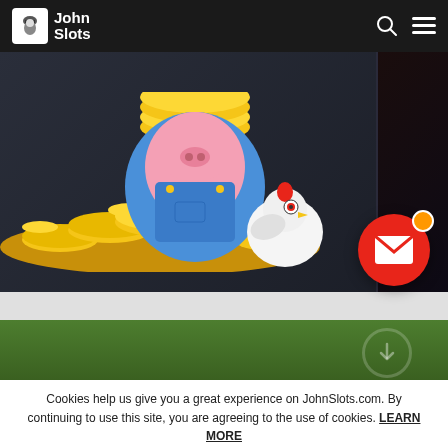John Slots
[Figure (screenshot): Cartoon pig character sitting on pile of gold coins with a white chicken beside it, game art for a slot game. Also shows a red circular email notification icon with envelope and orange dot.]
[Figure (photo): Green grass background section with a faint circular icon on the right side.]
Cookies help us give you a great experience on JohnSlots.com. By continuing to use this site, you are agreeing to the use of cookies. LEARN MORE
ACCEPT